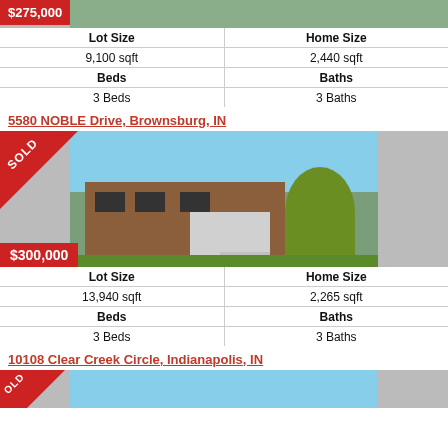[Figure (photo): Top of first property photo with $275,000 price tag, gray sides visible]
| Lot Size | Home Size |
| --- | --- |
| 9,100 sqft | 2,440 sqft |
| Beds | Baths |
| 3 Beds | 3 Baths |
5580 NOBLE Drive, Brownsburg, IN
[Figure (photo): Two-story brick home with white garage, weeping tree, SOLD banner top-left, $300,000 price tag bottom-left]
| Lot Size | Home Size |
| --- | --- |
| 13,940 sqft | 2,265 sqft |
| Beds | Baths |
| 3 Beds | 3 Baths |
10108 Clear Creek Circle, Indianapolis, IN
[Figure (photo): Partial view of third property photo with SOLD banner, cut off at bottom of page]